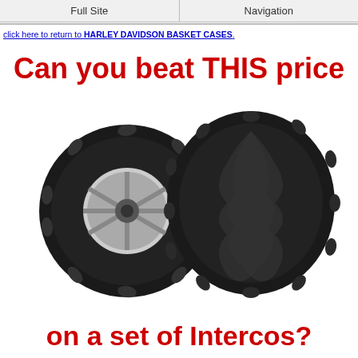Full Site | Navigation
click here to return to HARLEY DAVIDSON BASKET CASES.
[Figure (illustration): Advertisement showing two large off-road ATV tires (Intercos) on a white background, with red bold text 'Can you beat THIS price' above and 'on a set of Intercos?' below.]